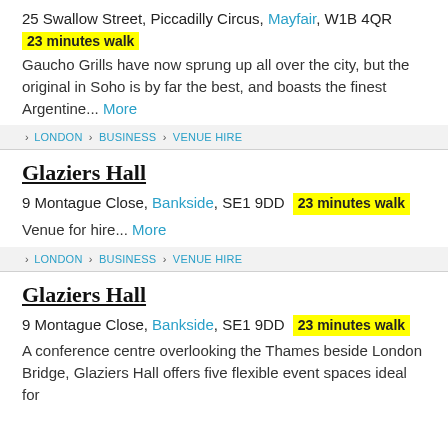25 Swallow Street, Piccadilly Circus, Mayfair, W1B 4QR
23 minutes walk
Gaucho Grills have now sprung up all over the city, but the original in Soho is by far the best, and boasts the finest Argentine... More
> LONDON > BUSINESS > VENUE HIRE
Glaziers Hall
9 Montague Close, Bankside, SE1 9DD  23 minutes walk
Venue for hire... More
> LONDON > BUSINESS > VENUE HIRE
Glaziers Hall
9 Montague Close, Bankside, SE1 9DD  23 minutes walk
A conference centre overlooking the Thames beside London Bridge, Glaziers Hall offers five flexible event spaces ideal for